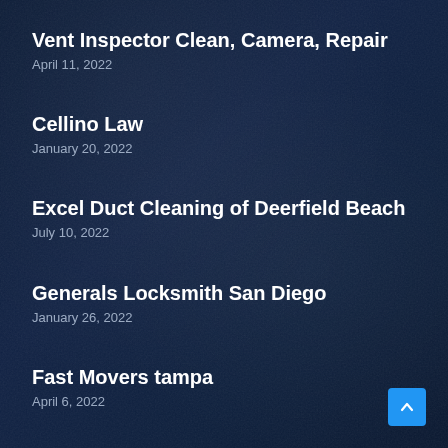Vent Inspector Clean, Camera, Repair
April 11, 2022
Cellino Law
January 20, 2022
Excel Duct Cleaning of Deerfield Beach
July 10, 2022
Generals Locksmith San Diego
January 26, 2022
Fast Movers tampa
April 6, 2022